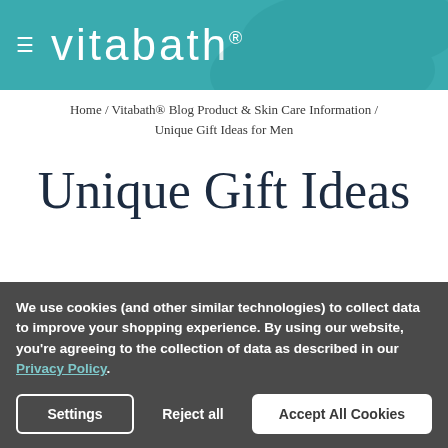vitabath
Home / Vitabath® Blog Product & Skin Care Information / Unique Gift Ideas for Men
Unique Gift Ideas
We use cookies (and other similar technologies) to collect data to improve your shopping experience. By using our website, you're agreeing to the collection of data as described in our Privacy Policy.
Settings | Reject all | Accept All Cookies